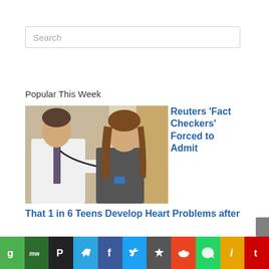Search
Popular This Week
[Figure (photo): A doctor using a stethoscope to examine a teenage female patient in a clinic setting]
Reuters ‘Fact Checkers’ Forced to Admit That 1 in 6 Teens Develop Heart Problems after
[Figure (infographic): Social media share bar with icons for Gab, MeWe, Parler, Telegram, Facebook, Twitter, Favorites/star, Reddit, WhatsApp, Apple News, and Tumblr]